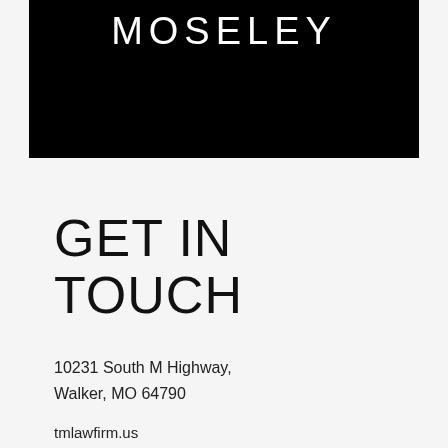[Figure (logo): Black rectangular banner with the text MOSELEY in white thin uppercase letters at the top]
GET IN TOUCH
10231 South M Highway, Walker, MO 64790
tmlawfirm.us